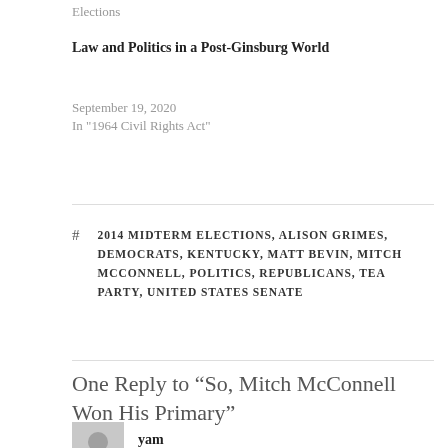Elections
Law and Politics in a Post-Ginsburg World
September 19, 2020
In "1964 Civil Rights Act"
# 2014 MIDTERM ELECTIONS, ALISON GRIMES, DEMOCRATS, KENTUCKY, MATT BEVIN, MITCH MCCONNELL, POLITICS, REPUBLICANS, TEA PARTY, UNITED STATES SENATE
One Reply to “So, Mitch McConnell Won His Primary”
yam